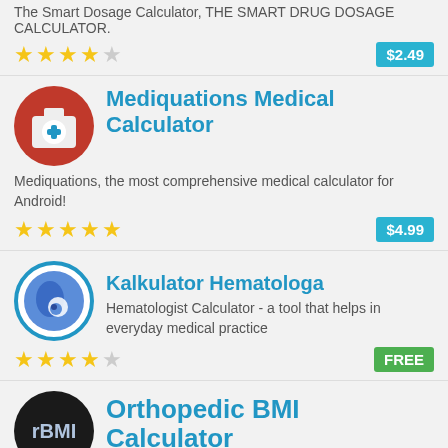The Smart Dosage Calculator, THE SMART DRUG DOSAGE CALCULATOR.
★★★★☆  $2.49
Mediquations Medical Calculator
Mediquations, the most comprehensive medical calculator for Android!
★★★★★  $4.99
Kalkulator Hematologa
Hematologist Calculator - a tool that helps in everyday medical practice
★★★★☆  FREE
Orthopedic BMI Calculator